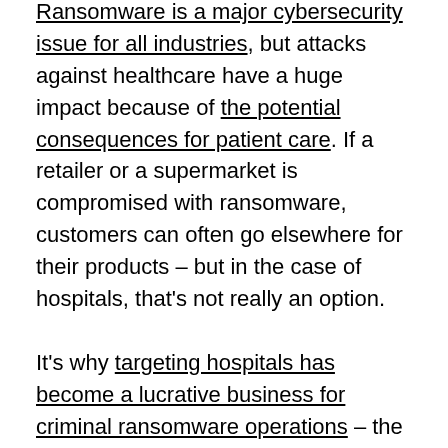Ransomware is a major cybersecurity issue for all industries, but attacks against healthcare have a huge impact because of the potential consequences for patient care. If a retailer or a supermarket is compromised with ransomware, customers can often go elsewhere for their products – but in the case of hospitals, that's not really an option.

It's why targeting hospitals has become a lucrative business for criminal ransomware operations – the nature of healthcare and the requirement for constant access to systems means that, in many cases, the victim will give in and pay the ransom demand for a decryption key.

The results of the survey, based on answers from